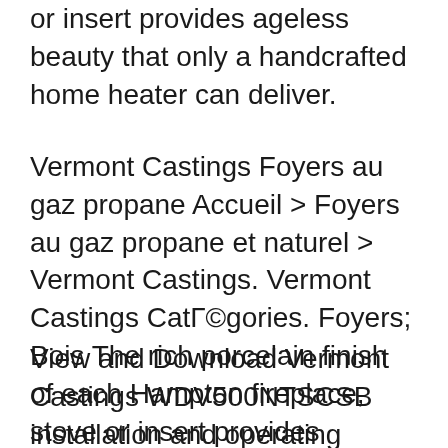or insert provides ageless beauty that only a handcrafted home heater can deliver.
Vermont Castings Foyers au gaz propane Accueil > Foyers au gaz propane et naturel > Vermont Castings. Vermont Castings CatГ©gories. Foyers; Bois The rich porcelain finish of each Hampton fireplace, stove or insert provides ageless beauty that only a handcrafted home heater can deliver.
View and Download Vermont Castings WDV500NTSCSB installation and operating Related Manuals for Vermont Castings Г©nergГ©tique de foyer au gaz вЂ¦ 2013-03-26В В· Equally